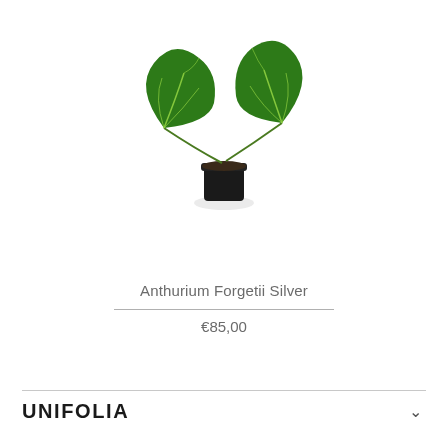[Figure (photo): Anthurium Forgetii Silver plant with two large dark green heart-shaped leaves with white/light green veins, growing in a small black pot, photographed on white background]
Anthurium Forgetii Silver
€85,00
UNIFOLIA